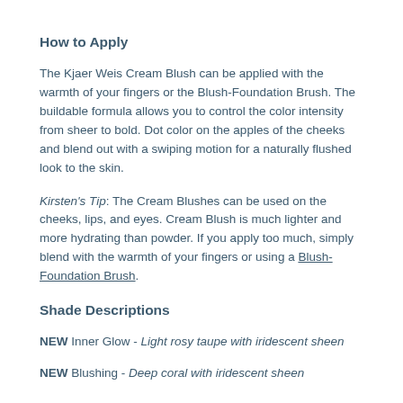How to Apply
The Kjaer Weis Cream Blush can be applied with the warmth of your fingers or the Blush-Foundation Brush. The buildable formula allows you to control the color intensity from sheer to bold. Dot color on the apples of the cheeks and blend out with a swiping motion for a naturally flushed look to the skin.
Kirsten's Tip: The Cream Blushes can be used on the cheeks, lips, and eyes. Cream Blush is much lighter and more hydrating than powder. If you apply too much, simply blend with the warmth of your fingers or using a Blush-Foundation Brush.
Shade Descriptions
NEW Inner Glow - Light rosy taupe with iridescent sheen
NEW Blushing - Deep coral with iridescent sheen